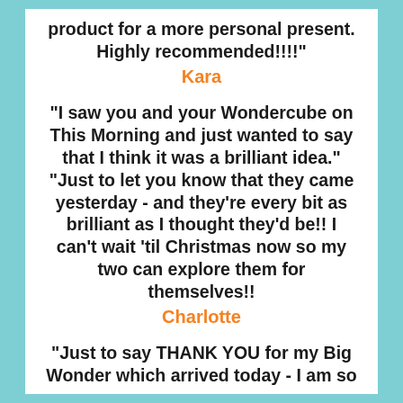product for a more personal present. Highly recommended!!!!"
Kara
"I saw you and your Wondercube on This Morning and just wanted to say that I think it was a brilliant idea." "Just to let you know that they came yesterday - and they're every bit as brilliant as I thought they'd be!! I can't wait 'til Christmas now so my two can explore them for themselves!!
Charlotte
"Just to say THANK YOU for my Big Wonder which arrived today - I am so